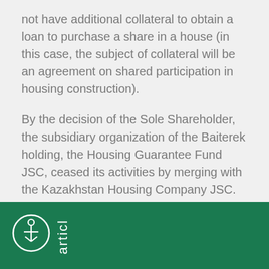not have additional collateral to obtain a loan to purchase a share in a house (in this case, the subject of collateral will be an agreement on shared participation in housing construction).
By the decision of the Sole Shareholder, the subsidiary organization of the Baiterek holding, the Housing Guarantee Fund JSC, ceased its activities by merging with the Kazakhstan Housing Company JSC.
[Figure (logo): White circular logo with anchor/person icon, and vertical rotated text reading 'articl' on a dark green footer bar]